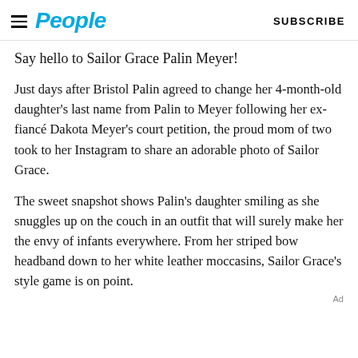People | SUBSCRIBE
Say hello to Sailor Grace Palin Meyer!
Just days after Bristol Palin agreed to change her 4-month-old daughter's last name from Palin to Meyer following her ex-fiancé Dakota Meyer's court petition, the proud mom of two took to her Instagram to share an adorable photo of Sailor Grace.
The sweet snapshot shows Palin's daughter smiling as she snuggles up on the couch in an outfit that will surely make her the envy of infants everywhere. From her striped bow headband down to her white leather moccasins, Sailor Grace's style game is on point.